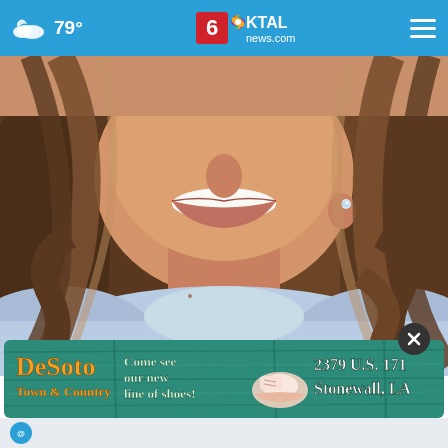79° KTAL news.com
[Figure (photo): Close-up portrait photo of a smiling woman with long wavy brown hair with highlights, wearing a light blue top and a small crystal stud earring, cropped from mid-face to upper chest.]
[Figure (other): Advertisement banner for DeSoto Town & Country: 'Come see our new line of shoes! 2379 U.S. 171 Stonewall, LA' with teal wood-plank background and shoe image.]